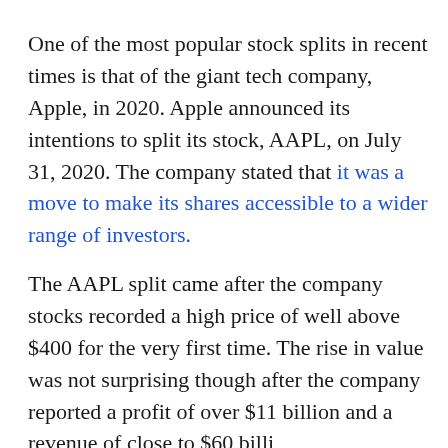One of the most popular stock splits in recent times is that of the giant tech company, Apple, in 2020. Apple announced its intentions to split its stock, AAPL, on July 31, 2020. The company stated that it was a move to make its shares accessible to a wider range of investors.
The AAPL split came after the company stocks recorded a high price of well above $400 for the very first time. The rise in value was not surprising though after the company reported a profit of over $11 billion and a revenue of close to $60 billion...